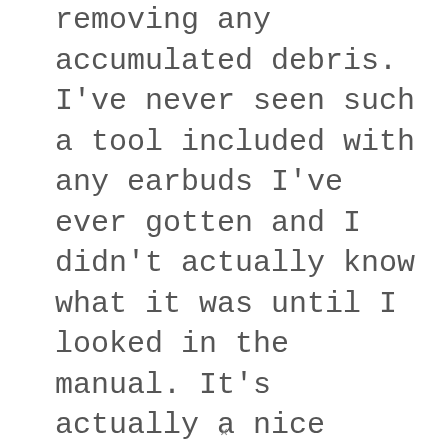removing any accumulated debris. I've never seen such a tool included with any earbuds I've ever gotten and I didn't actually know what it was until I looked in the manual. It's actually a nice thing to generally have now.
×